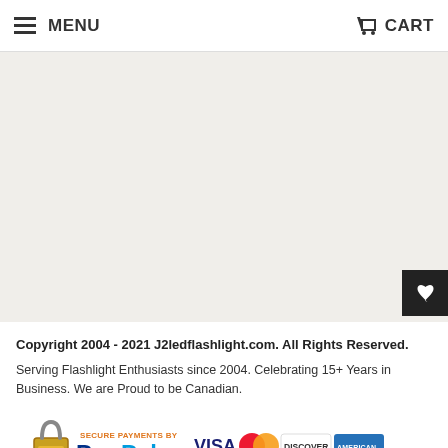MENU  CART
eBay Store & Feedback
Privacy Policy
Return Policy
Shipping
Terms of Service
Search
Copyright 2004 - 2021 J2ledflashlight.com. All Rights Reserved.
Serving Flashlight Enthusiasts since 2004. Celebrating 15+ Years in Business. We are Proud to be Canadian.
[Figure (logo): Secure Payments by PayPal logo with Visa, Mastercard, Discover, American Express icons and 'No PayPal Account Required' text]